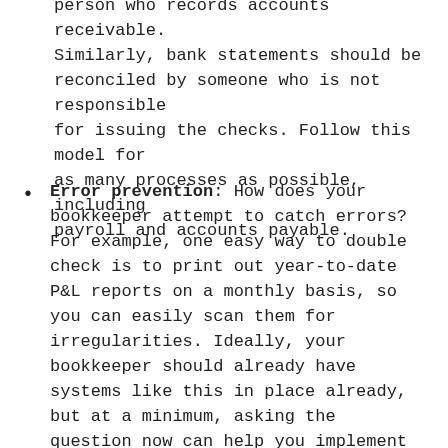person who records accounts receivable. Similarly, bank statements should be reconciled by someone who is not responsible for issuing the checks. Follow this model for as many processes as possible, including payroll and accounts payable.
Error prevention: How does your bookkeeper attempt to catch errors? For example, one easy way to double check is to print out year-to-date P&L reports on a monthly basis, so you can easily scan them for irregularities. Ideally, your bookkeeper should already have systems like this in place already, but at a minimum, asking the question now can help you implement them if not.